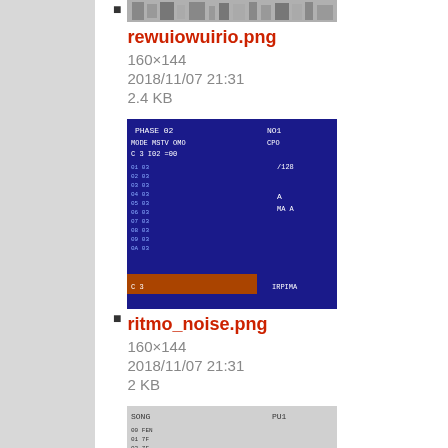rewuiowuirio.png
160×144
2018/11/07 21:31
2.4 KB
ritmo_noise.png
160×144
2018/11/07 21:31
2 KB
screenshot_lsdj.png
160×144
2018/11/07 21:31